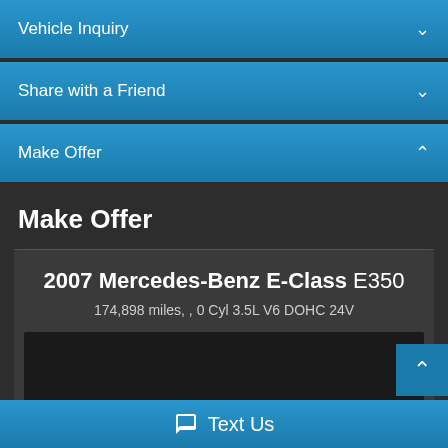Vehicle Inquiry
Share with a Friend
Make Offer
Make Offer
2007 Mercedes-Benz E-Class E350
174,898 miles, , 0 Cyl 3.5L V6 DOHC 24V
[Figure (screenshot): Dark placeholder image area for vehicle photo]
Text Us